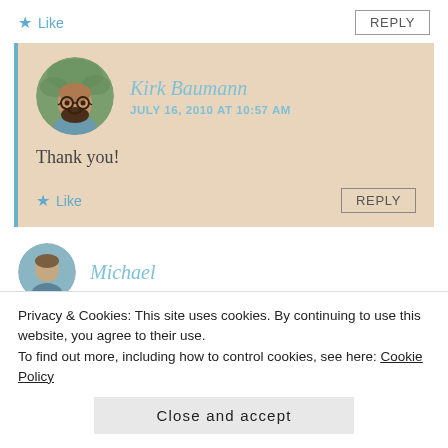★ Like
REPLY
[Figure (photo): Profile photo of Kirk Baumann — bearded man with glasses, smiling, in a blue shirt, circular avatar]
Kirk Baumann
JULY 16, 2010 AT 10:57 AM
Thank you!
★ Like
REPLY
[Figure (photo): Partial circular avatar of next commenter Michael]
Michael
Privacy & Cookies: This site uses cookies. By continuing to use this website, you agree to their use.
To find out more, including how to control cookies, see here: Cookie Policy
Close and accept